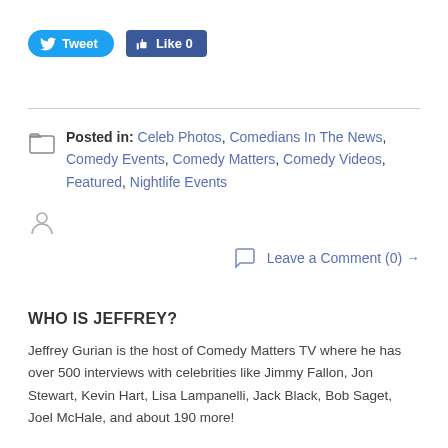[Figure (screenshot): Tweet button (blue rounded) and Like 0 button (Facebook blue square)]
Posted in: Celeb Photos, Comedians In The News, Comedy Events, Comedy Matters, Comedy Videos, Featured, Nightlife Events
Leave a Comment (0) →
WHO IS JEFFREY?
Jeffrey Gurian is the host of Comedy Matters TV where he has over 500 interviews with celebrities like Jimmy Fallon, Jon Stewart, Kevin Hart, Lisa Lampanelli, Jack Black, Bob Saget, Joel McHale, and about 190 more!